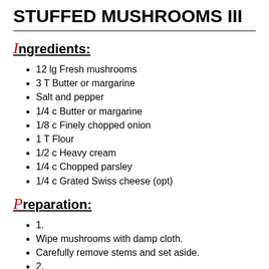STUFFED MUSHROOMS III
Ingredients:
12 lg Fresh mushrooms
3 T Butter or margarine
Salt and pepper
1/4 c Butter or margarine
1/8 c Finely chopped onion
1 T Flour
1/2 c Heavy cream
1/4 c Chopped parsley
1/4 c Grated Swiss cheese (opt)
Preparation:
1.
Wipe mushrooms with damp cloth.
Carefully remove stems and set aside.
2.